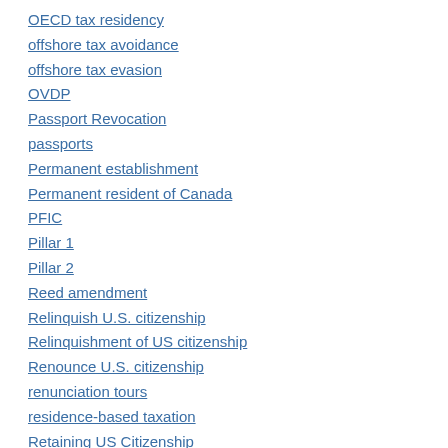OECD tax residency
offshore tax avoidance
offshore tax evasion
OVDP
Passport Revocation
passports
Permanent establishment
Permanent resident of Canada
PFIC
Pillar 1
Pillar 2
Reed amendment
Relinquish U.S. citizenship
Relinquishment of US citizenship
Renounce U.S. citizenship
renunciation tours
residence-based taxation
Retaining US Citizenship
Revenue rule